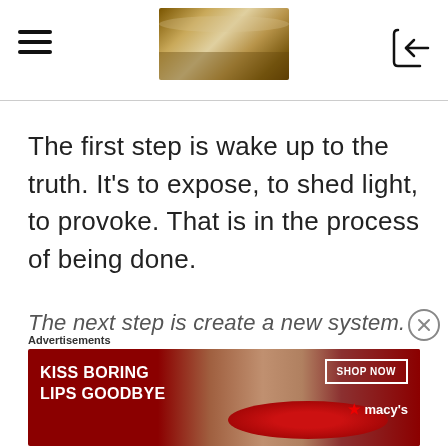[hamburger menu icon] [header image] [login icon]
The first step is wake up to the truth. It's to expose, to shed light, to provoke. That is in the process of being done.
The next step is create a new system.
Advertisements
[Figure (photo): Advertisement banner: red background with woman's face and red lips, text 'KISS BORING LIPS GOODBYE', 'SHOP NOW' button, Macy's star logo]